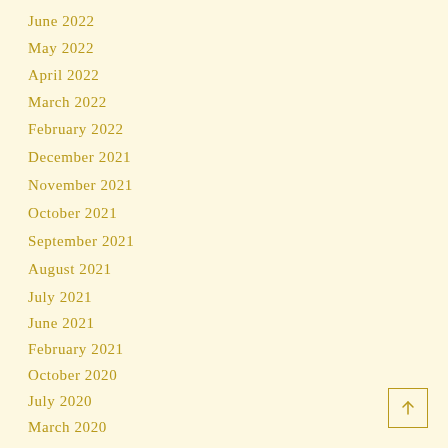June 2022
May 2022
April 2022
March 2022
February 2022
December 2021
November 2021
October 2021
September 2021
August 2021
July 2021
June 2021
February 2021
October 2020
July 2020
March 2020
[Figure (other): Back to top button with upward arrow inside a square border]